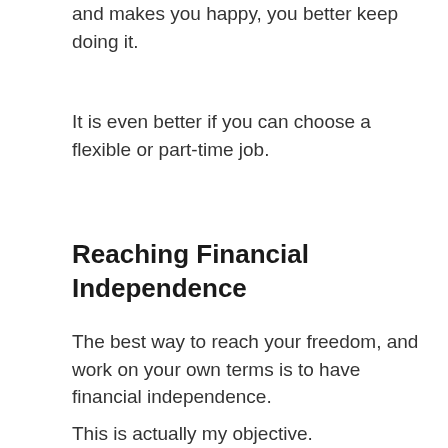and makes you happy, you better keep doing it.
It is even better if you can choose a flexible or part-time job.
Reaching Financial Independence
The best way to reach your freedom, and work on your own terms is to have financial independence.
This is actually my objective.